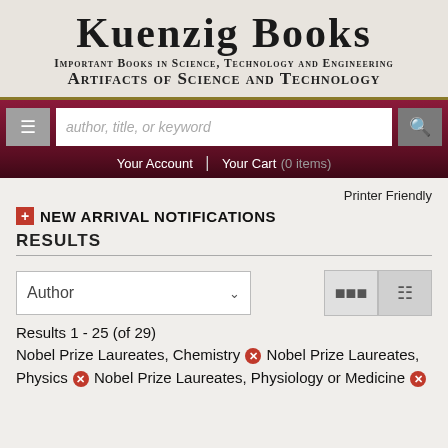Kuenzig Books
Important Books in Science, Technology and Engineering
Artifacts of Science and Technology
[Figure (screenshot): Navigation bar with hamburger menu, search box placeholder 'author, title, or keyword', and search button]
Your Account | Your Cart (0 items)
Printer Friendly
NEW ARRIVAL NOTIFICATIONS
RESULTS
Author (sort dropdown)
Results 1 - 25 (of 29)
Nobel Prize Laureates, Chemistry ✖ Nobel Prize Laureates, Physics ✖ Nobel Prize Laureates, Physiology or Medicine ✖